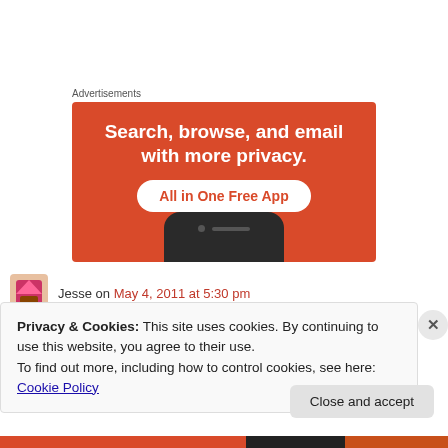Advertisements
[Figure (illustration): Orange/red advertisement banner reading 'Search, browse, and email with more privacy. All in One Free App' with a smartphone image at the bottom.]
Jesse on May 4, 2011 at 5:30 pm
Privacy & Cookies: This site uses cookies. By continuing to use this website, you agree to their use.
To find out more, including how to control cookies, see here: Cookie Policy
Close and accept